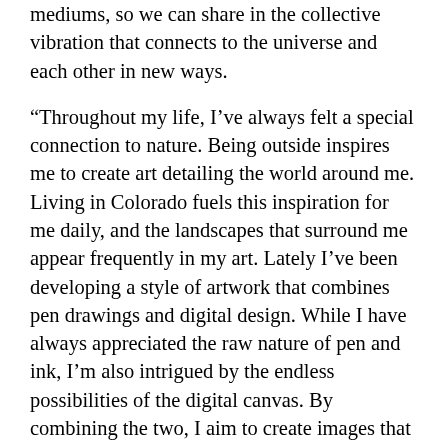mediums, so we can share in the collective vibration that connects to the universe and each other in new ways.
“Throughout my life, I’ve always felt a special connection to nature. Being outside inspires me to create art detailing the world around me. Living in Colorado fuels this inspiration for me daily, and the landscapes that surround me appear frequently in my art. Lately I’ve been developing a style of artwork that combines pen drawings and digital design. While I have always appreciated the raw nature of pen and ink, I’m also intrigued by the endless possibilities of the digital canvas. By combining the two, I aim to create images that feel both organic, and state of the art, at the same time. You’ve likely seen my work throughout the Mountain West (as a previous CATAYST cover artist) as well as a number of music festivals and